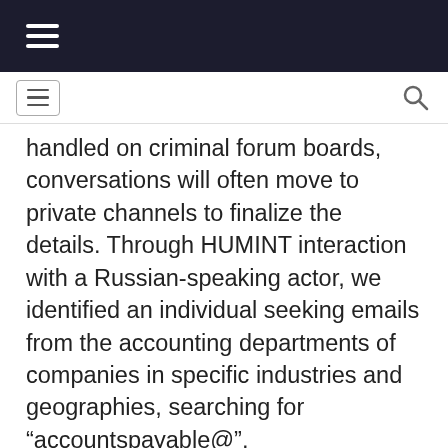[navigation top bar with hamburger menu]
[nav bar with menu button and search icon]
handled on criminal forum boards, conversations will often move to private channels to finalize the details. Through HUMINT interaction with a Russian-speaking actor, we identified an individual seeking emails from the accounting departments of companies in specific industries and geographies, searching for “accountspayable@”, “accountsreceivables@”, “payables@”, and “receivables@” (see below).